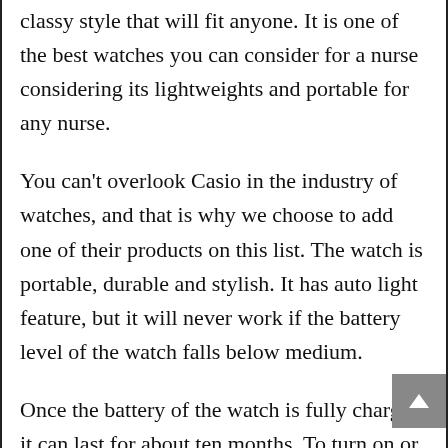classy style that will fit anyone. It is one of the best watches you can consider for a nurse considering its lightweights and portable for any nurse.
You can't overlook Casio in the industry of watches, and that is why we choose to add one of their products on this list. The watch is portable, durable and stylish. It has auto light feature, but it will never work if the battery level of the watch falls below medium.
Once the battery of the watch is fully charged, it can last for about ten months. To turn on or off the auto light of the wristwatch, you have to